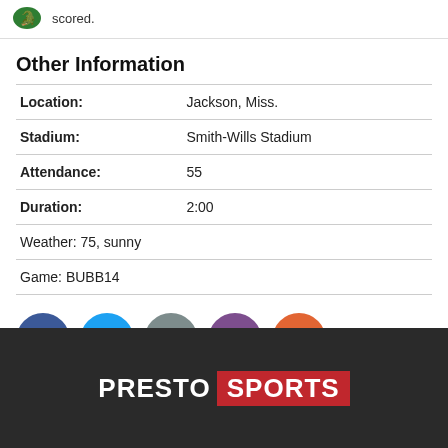scored.
Other Information
| Location: | Jackson, Miss. |
| Stadium: | Smith-Wills Stadium |
| Attendance: | 55 |
| Duration: | 2:00 |
| Weather: 75, sunny |  |
| Game: BUBB14 |  |
[Figure (infographic): Social sharing icons: Facebook (blue), Twitter (light blue), Email (gray), Print (purple), Add (orange)]
[Figure (logo): PrestoSports logo: white PRESTO text and red box with white SPORTS text on dark background]